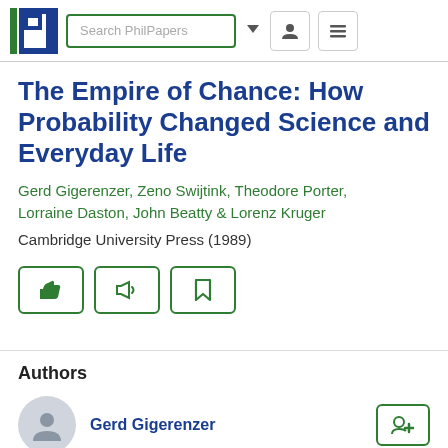[Figure (screenshot): PhilPapers website navigation bar with logo, search box, dropdown arrow, user icon, and hamburger menu]
The Empire of Chance: How Probability Changed Science and Everyday Life
Gerd Gigerenzer, Zeno Swijtink, Theodore Porter, Lorraine Daston, John Beatty & Lorenz Kruger
Cambridge University Press (1989)
[Figure (screenshot): Three action buttons: thumbs up (like), megaphone (recommend), and bookmark icons, all with green borders]
Authors
Gerd Gigerenzer